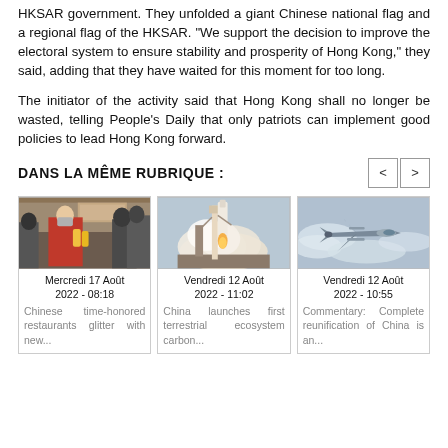HKSAR government. They unfolded a giant Chinese national flag and a regional flag of the HKSAR. "We support the decision to improve the electoral system to ensure stability and prosperity of Hong Kong," they said, adding that they have waited for this moment for too long.
The initiator of the activity said that Hong Kong shall no longer be wasted, telling People's Daily that only patriots can implement good policies to lead Hong Kong forward.
DANS LA MÊME RUBRIQUE :
[Figure (photo): Person in red jacket and mask holding yellow bottles in front of a Chinese restaurant]
Mercredi 17 Août 2022 - 08:18
Chinese time-honored restaurants glitter with new...
[Figure (photo): Rocket launch with large smoke cloud at a Chinese launch site]
Vendredi 12 Août 2022 - 11:02
China launches first terrestrial ecosystem carbon...
[Figure (photo): Military jet fighter flying over clouds]
Vendredi 12 Août 2022 - 10:55
Commentary: Complete reunification of China is an...